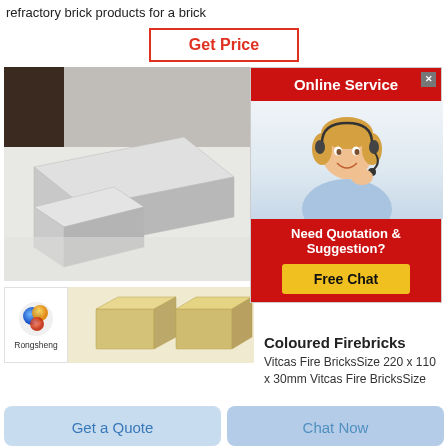refractory brick products for a brick
Get Price
[Figure (photo): Photo of white/grey refractory bricks stacked on a light surface]
[Figure (photo): Online Service popup with customer service agent wearing headset, red header, Free Chat button]
Bric
BRIC
Brick
[Figure (logo): Rongsheng company logo with colorful sphere and text]
[Figure (photo): Photo of coloured firebricks (yellowish/tan colored) on white background]
Coloured Firebricks
Vitcas Fire BricksSize 220 x 110 x 30mm Vitcas Fire BricksSize
Get a Quote
Chat Now